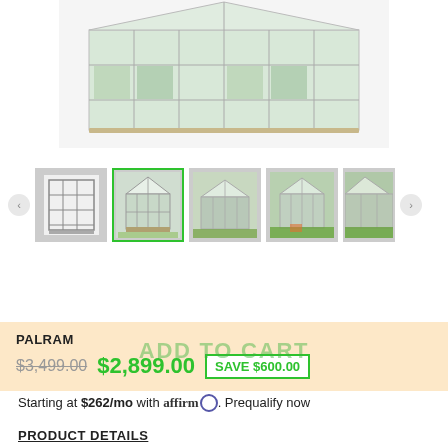[Figure (photo): Main product image of a large Palram greenhouse with aluminum frame and polycarbonate panels, shown from an angled top view outdoors]
[Figure (photo): Thumbnail row showing: floor plan diagram, selected greenhouse exterior photo (green border), two more greenhouse exterior photos, and a partial fifth photo]
Sale
PALRAM
ADD TO CART
$3,499.00  $2,899.00  SAVE $600.00
Starting at $262/mo with affirm. Prequalify now
PRODUCT DETAILS